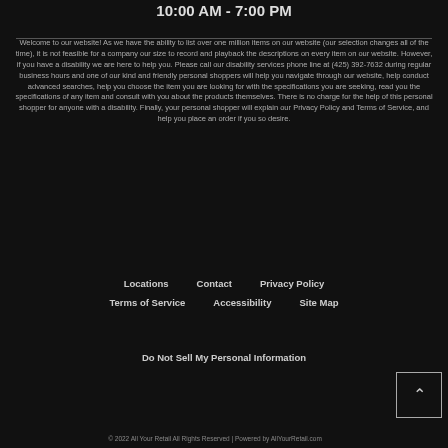10:00 AM - 7:00 PM
Welcome to our website! As we have the ability to list over one million items on our website (our selection changes all of the time), it is not feasible for a company our size to record and playback the descriptions on every item on our website. However, if you have a disability we are here to help you. Please call our disability services phone line at (425) 392-7632 during regular business hours and one of our kind and friendly personal shoppers will help you navigate through our website, help conduct advanced searches, help you choose the item you are looking for with the specifications you are seeking, read you the specifications of any item and consult with you about the products themselves. There is no charge for the help of this personal shopper for anyone with a disability. Finally, your personal shopper will explain our Privacy Policy and Terms of Service, and help you place an order if you so desire.
Locations
Contact
Privacy Policy
Terms of Service
Accessibility
Site Map
Do Not Sell My Personal Information
© 2022 All Your Retail All Rights Reserved | Powered by AllYourRetail.com